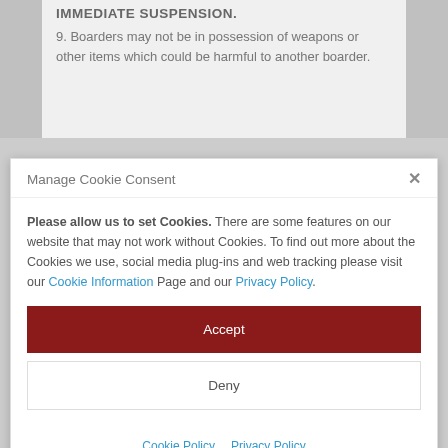IMMEDIATE SUSPENSION.
9. Boarders may not be in possession of weapons or other items which could be harmful to another boarder.
Manage Cookie Consent
Please allow us to set Cookies. There are some features on our website that may not work without Cookies. To find out more about the Cookies we use, social media plug-ins and web tracking please visit our Cookie Information Page and our Privacy Policy.
Accept
Deny
Cookie Policy   Privacy Policy